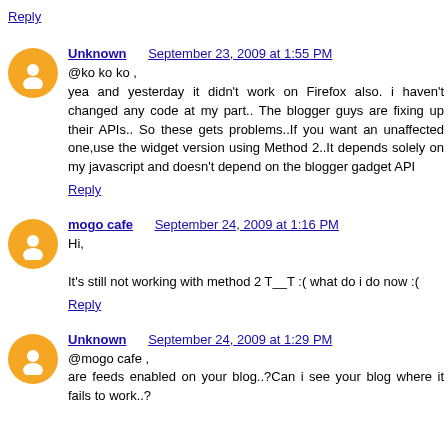Reply
Unknown   September 23, 2009 at 1:55 PM
@ko ko ko ,
yea and yesterday it didn't work on Firefox also. i haven't changed any code at my part.. The blogger guys are fixing up their APIs.. So these gets problems..If you want an unaffected one,use the widget version using Method 2..It depends solely on my javascript and doesn't depend on the blogger gadget API
Reply
mogo cafe   September 24, 2009 at 1:16 PM
Hi,

It's still not working with method 2 T__T :( what do i do now :(
Reply
Unknown   September 24, 2009 at 1:29 PM
@mogo cafe ,
are feeds enabled on your blog..?Can i see your blog where it fails to work..?